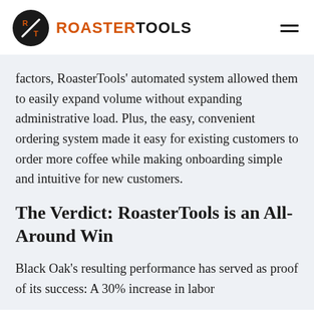ROASTERTOOLS
factors, RoasterTools' automated system allowed them to easily expand volume without expanding administrative load. Plus, the easy, convenient ordering system made it easy for existing customers to order more coffee while making onboarding simple and intuitive for new customers.
The Verdict: RoasterTools is an All-Around Win
Black Oak's resulting performance has served as proof of its success: A 30% increase in labor